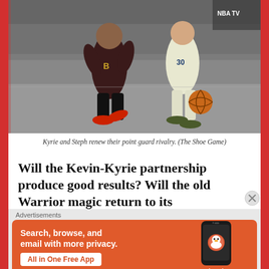[Figure (photo): Black and white basketball photo with color accents showing Kyrie Irving (Cavaliers, red shoes) and Stephen Curry (#30, Warriors, white uniform) in a point guard rivalry matchup. NBA TV logo visible in upper right corner.]
Kyrie and Steph renew their point guard rivalry. (The Shoe Game)
Will the Kevin-Kyrie partnership produce good results? Will the old Warrior magic return to its
Advertisements
[Figure (screenshot): DuckDuckGo advertisement banner. Orange background with white text: 'Search, browse, and email with more privacy.' Button: 'All in One Free App'. Right side shows a smartphone with DuckDuckGo logo and branding.]